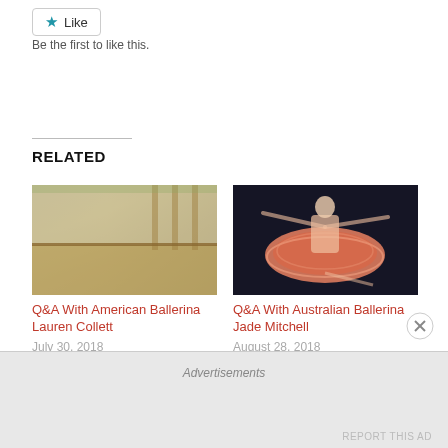[Figure (other): Like button with star icon]
Be the first to like this.
RELATED
[Figure (photo): Ballet dancer in studio with blue tutu]
Q&A With American Ballerina Lauren Collett
July 30, 2018
In "Ballet"
[Figure (photo): Ballet dancer in orange/red tutu on dark background]
Q&A With Australian Ballerina Jade Mitchell
August 28, 2018
In "Ballet"
Advertisements